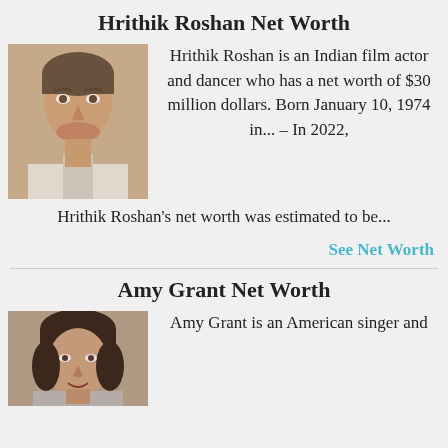Hrithik Roshan Net Worth
[Figure (photo): Headshot photo of Hrithik Roshan, an Indian film actor, in a close-up portrait.]
Hrithik Roshan is an Indian film actor and dancer who has a net worth of $30 million dollars. Born January 10, 1974 in... – In 2022, Hrithik Roshan's net worth was estimated to be...
See Net Worth
Amy Grant Net Worth
[Figure (photo): Headshot photo of Amy Grant, an American singer.]
Amy Grant is an American singer and